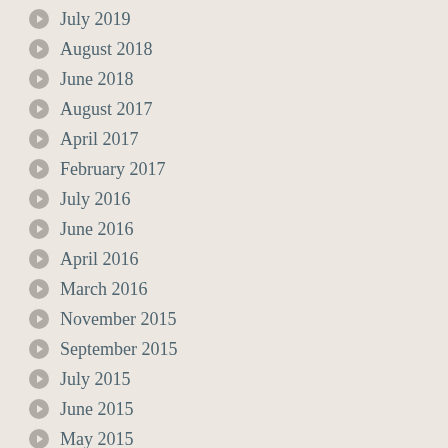July 2019
August 2018
June 2018
August 2017
April 2017
February 2017
July 2016
June 2016
April 2016
March 2016
November 2015
September 2015
July 2015
June 2015
May 2015